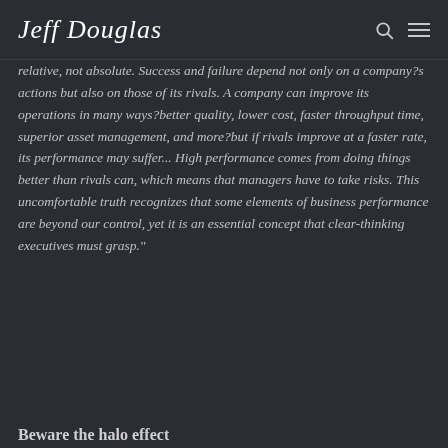Jeff Douglas
relative, not absolute. Success and failure depend not only on a company?s actions but also on those of its rivals. A company can improve its operations in many ways?better quality, lower cost, faster throughput time, superior asset management, and more?but if rivals improve at a faster rate, its performance may suffer... High performance comes from doing things better than rivals can, which means that managers have to take risks. This uncomfortable truth recognizes that some elements of business performance are beyond our control, yet it is an essential concept that clear-thinking executives must grasp."
Beware the halo effect